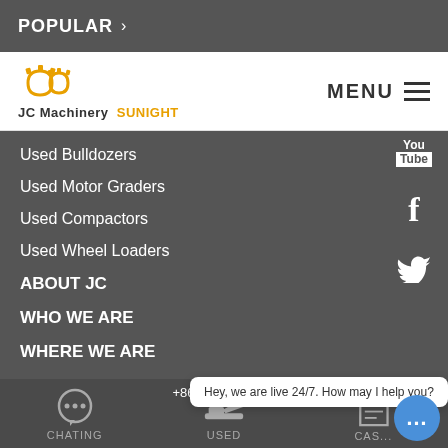POPULAR >
[Figure (logo): JC Machinery Sunight logo with orange gear icons and company name]
Used Bulldozers
Used Motor Graders
Used Compactors
Used Wheel Loaders
ABOUT JC
WHO WE ARE
WHERE WE ARE
CONTACTS ONLINE
QUICK CONTACTS
+86-21-51393804  CHATING  USED  CAS...
Hey, we are live 24/7. How may I help you?